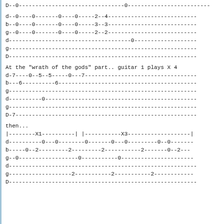D--0--------------------------------0-------------------------
d--0----0-------0----0-----2--4---------------------------
b--0----0-------0----0-----3--3---------------------------
g--0----0-------0----0-----2--2---------------------------
d-------------------------------------0-------------------
g---------------------------------------------------------
D---------------------------------------------------------
At the "wrath of the gods" part.. guitar 1 plays X 4
d-7----0--5--5-----0---7----------------------------------
b---6----------6------------------------------------------
g---------------------------------------------------------
d----------0----------------------------------------------
g---------------------------------------------------------
D-7-------------------------------------------------------
then...
|--------X1----------| |-----------X3-------------------|
d----------0---0--------0-------0---0---------0--0-------
b-----0--2---------2---------2-----------2-------0--2---
g--0------------------0-----------0----------------------
d---------------------------------------------------------
g-------------------2-----------2-----------2------------
D---------------------------------------------------------